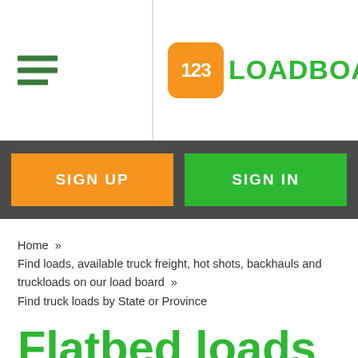[Figure (logo): 123Loadboard logo with orange rounded square containing '123' in white and green 'LOADBOARD' text]
SIGN UP
SIGN IN
Home  »  Find loads, available truck freight, hot shots, backhauls and truckloads on our load board  »  Find truck loads by State or Province
Flatbed loads in Minatare, Nebraska